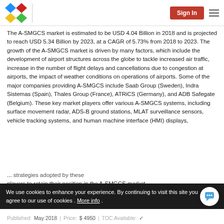Sign In
The A-SMGCS market is estimated to be USD 4.04 Billion in 2018 and is projected to reach USD 5.34 Billion by 2023, at a CAGR of 5.73% from 2018 to 2023. The growth of the A-SMGCS market is driven by many factors, which include the development of airport structures across the globe to tackle increased air traffic, increase in the number of flight delays and cancellations due to congestion at airports, the impact of weather conditions on operations of airports. Some of the major companies providing A-SMGCS include Saab Group (Sweden), Indra Sistemas (Spain), Thales Group (France), ATRiCS (Germany), and ADB Safegate (Belgium). These key market players offer various A-SMGCS systems, including surface movement radar, ADS-B ground stations, MLAT surveillance sensors, vehicle tracking systems, and human machine interface (HMI) displays, ... strategies adopted by these players to retain their position in the A-SMGCS market.
We use cookies to enhance your experience. By continuing to visit this site you agree to our use of cookies . More info .
Published: May 2018 | Price: $ 4950 | TOC Available: ✓